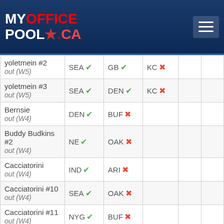[Figure (logo): MyOfficePool.ca logo on dark blue header with hamburger menu icon]
| Player | Pick 1 | Pick 2 | Pick 3 |  |  |
| --- | --- | --- | --- | --- | --- |
| yoletmein #2 out (W5) | SEA ✓ | GB ✓ | KC ✗ |  |  |
| yoletmein #3 out (W5) | SEA ✓ | DEN ✓ | KC ✗ |  |  |
| Bernsie out (W4) | DEN ✓ | BUF ✗ |  |  |  |
| Buddy Budkins #2 out (W4) | NE ✓ | OAK ✗ |  |  |  |
| Cacciatorini out (W4) | IND ✓ | ARI ✗ |  |  |  |
| Cacciatorini #10 out (W4) | SEA ✓ | OAK ✗ |  |  |  |
| Cacciatorini #11 out (W4) | NYG ✓ | BUF ✗ |  |  |  |
| Cacciatorini #13 out (W4) | SEA ✓ | ARI ✗ |  |  |  |